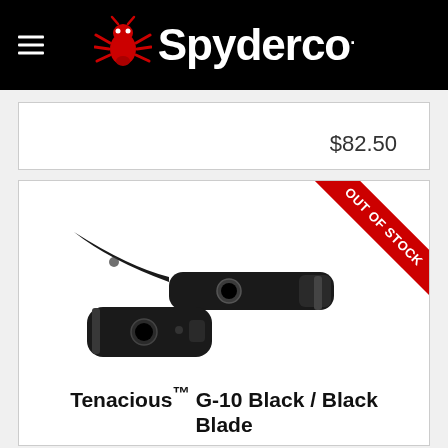[Figure (logo): Spyderco logo with red spider icon and white text on black background]
$82.50
[Figure (photo): Spyderco Tenacious G-10 Black / Black Blade folding knife shown open and closed, with red Out of Stock ribbon in top right corner]
Tenacious™ G-10 Black / Black Blade